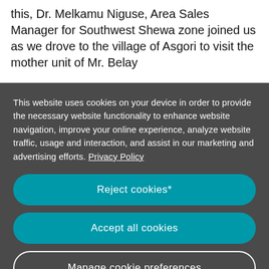this, Dr. Melkamu Niguse, Area Sales Manager for Southwest Shewa zone joined us as we drove to the village of Asgori to visit the mother unit of Mr. Belay
This website uses cookies on your device in order to provide the necessary website functionality to enhance website navigation, improve your online experience, analyze website traffic, usage and interaction, and assist in our marketing and advertising efforts. Privacy Policy
Reject cookies*
Accept all cookies
Manage cookie preferences
* Excluding Essential and Performance cookies